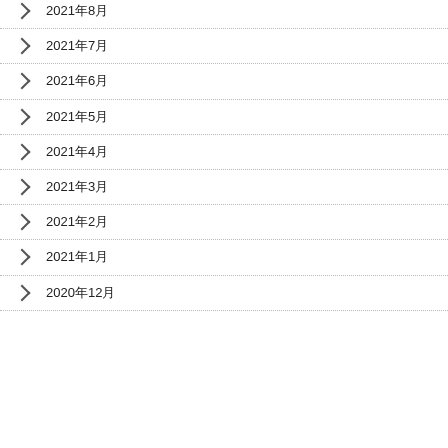2021年8月
2021年7月
2021年6月
2021年5月
2021年4月
2021年3月
2021年2月
2021年1月
2020年12月